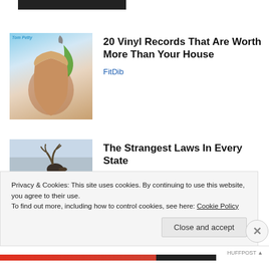[Figure (screenshot): Partial dark banner/header strip at top of page]
[Figure (photo): Album cover thumbnail showing a person with long hair and colorful background (Tom Petty album art)]
20 Vinyl Records That Are Worth More Than Your House
FitDib
[Figure (photo): Photo of a moose standing in snow with trees in background]
The Strangest Laws In Every State
New Arena
Privacy & Cookies: This site uses cookies. By continuing to use this website, you agree to their use.
To find out more, including how to control cookies, see here: Cookie Policy
Close and accept